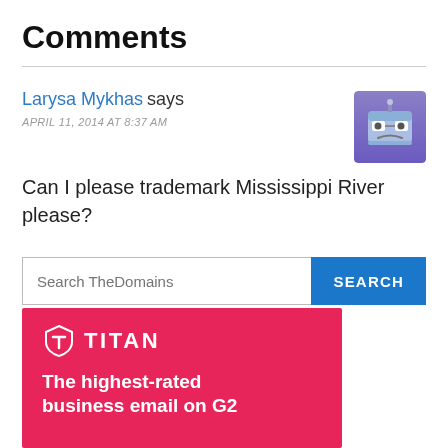Comments
Larysa Mykhas says
APRIL 11, 2014 AT 8:37 AM
Can I please trademark Mississippi River please?
Search TheDomains SEARCH
[Figure (infographic): Titan email service advertisement banner. Pink/magenta background with Titan logo (shield icon) and text 'TITAN'. Tagline: 'The highest-rated business email on G2']